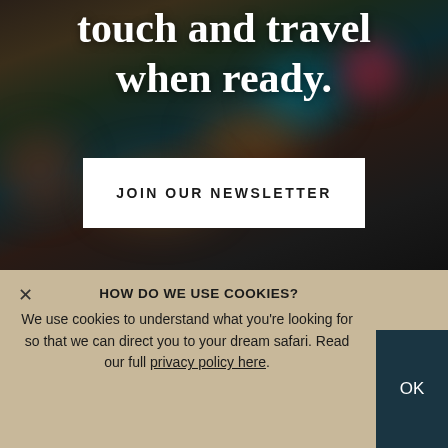[Figure (photo): Blurred dark background photo of a colorful market or travel scene with warm and cool tones]
touch and travel when ready.
JOIN OUR NEWSLETTER
HOW DO WE USE COOKIES?
We use cookies to understand what you're looking for so that we can direct you to your dream safari. Read our full privacy policy here.
OK